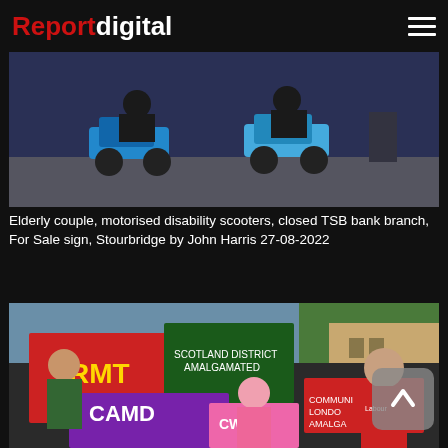Reportdigital
[Figure (photo): Two elderly people riding motorised disability scooters in front of a closed TSB bank branch with a For Sale sign in Stourbridge]
Elderly couple, motorised disability scooters, closed TSB bank branch, For Sale sign, Stourbridge by John Harris 27-08-2022
[Figure (photo): Protesters holding banners including RMT, Camden, CWU, and Communist London Amalgamated signs at a demonstration, with people wearing Labour t-shirts]